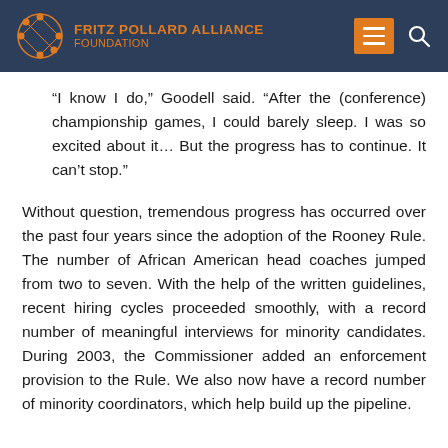FRITZ POLLARD ALLIANCE FOUNDATION
“I know I do,” Goodell said. “After the (conference) championship games, I could barely sleep. I was so excited about it… But the progress has to continue. It can’t stop.”
Without question, tremendous progress has occurred over the past four years since the adoption of the Rooney Rule. The number of African American head coaches jumped from two to seven. With the help of the written guidelines, recent hiring cycles proceeded smoothly, with a record number of meaningful interviews for minority candidates. During 2003, the Commissioner added an enforcement provision to the Rule. We also now have a record number of minority coordinators, which help build up the pipeline.